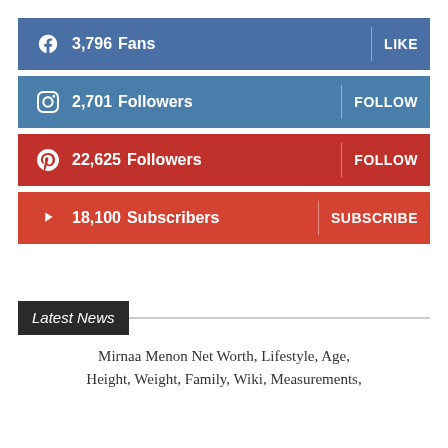[Figure (infographic): Facebook social bar showing 3,796 Fans with LIKE button]
[Figure (infographic): Instagram social bar showing 2,701 Followers with FOLLOW button]
[Figure (infographic): Pinterest social bar showing 22,625 Followers with FOLLOW button]
[Figure (infographic): YouTube social bar showing 18,100 Subscribers with SUBSCRIBE button]
Latest News
Mirnaa Menon Net Worth, Lifestyle, Age, Height, Weight, Family, Wiki, Measurements,